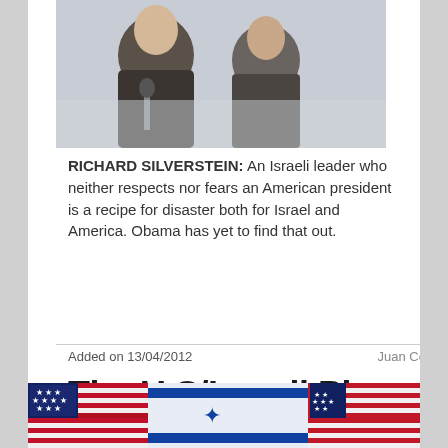[Figure (photo): Two men in suits at a press conference or official event, close-up photo]
RICHARD SILVERSTEIN: An Israeli leader who neither respects nor fears an American president is a recipe for disaster both for Israel and America. Obama has yet to find that out.
Added on 13/04/2012
Juan Cole
The U.S/Israeli Plan for Iran: It's Doomed
[Figure (photo): Close-up of US and Israeli flags draped together]